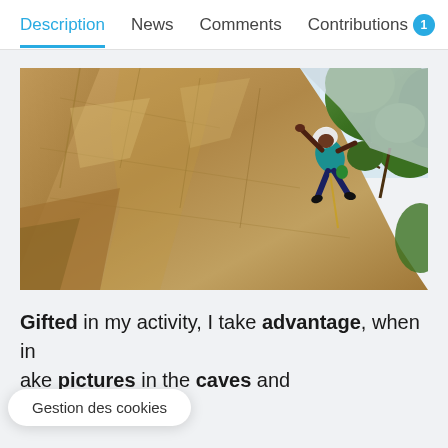Description  News  Comments  Contributions 1
[Figure (photo): A rock climber scaling a steep rocky cliff face outdoors, wearing a helmet and harness, with green vegetation visible in the upper right background.]
Gifted in my activity, I take advantage, when in ... ake pictures in the caves and on the rocks.
Gestion des cookies